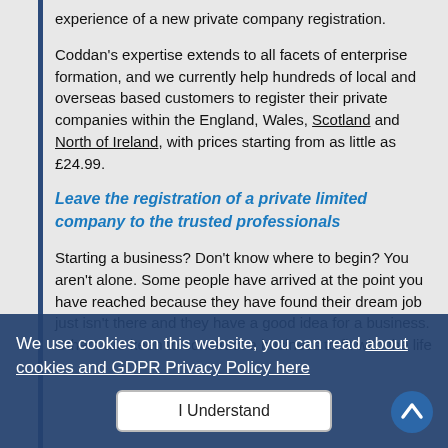experience of a new private company registration.
Coddan's expertise extends to all facets of enterprise formation, and we currently help hundreds of local and overseas based customers to register their private companies within the England, Wales, Scotland and North of Ireland, with prices starting from as little as £24.99.
Leave the registration of a private limited company to the trusted professionals
Starting a business? Don't know where to begin? You aren't alone. Some people have arrived at the point you have reached because they have found their dream job just isn't there and they have a good idea for a business. Others are keen to construct a business to fit with the life style they are aiming for. Then others are busy looking to expand their business or may have a burning desire to extend their main business concept to the market.
We use cookies on this website, you can read about cookies and GDPR Privacy Policy here